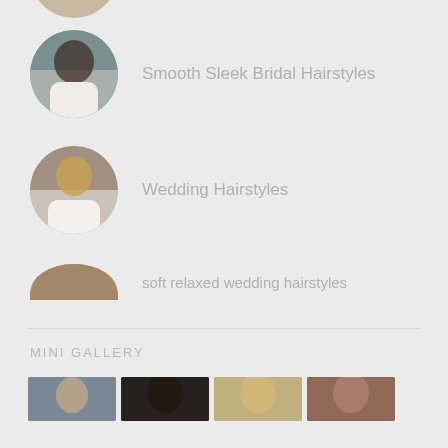[Figure (photo): Partial circular thumbnail of a person at very top of page (cropped)]
Smooth Sleek Bridal Hairstyles
Wedding Hairstyles
soft relaxed wedding hairstyles
MINI GALLERY
[Figure (photo): Row of four cropped portrait thumbnail photos at bottom of page]